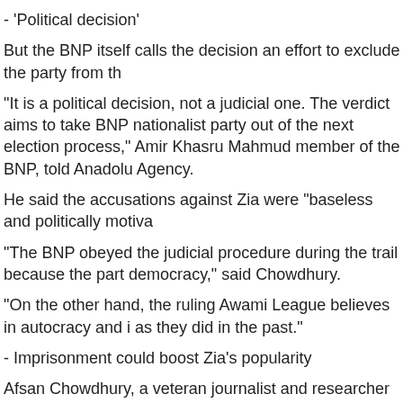- 'Political decision'
But the BNP itself calls the decision an effort to exclude the party from th
“It is a political decision, not a judicial one. The verdict aims to take BNP nationalist party out of the next election process,” Amir Khasru Mahmud member of the BNP, told Anadolu Agency.
He said the accusations against Zia were “baseless and politically motiva
“The BNP obeyed the judicial procedure during the trail because the part democracy,” said Chowdhury.
“On the other hand, the ruling Awami League believes in autocracy and i as they did in the past.”
- Imprisonment could boost Zia's popularity
Afsan Chowdhury, a veteran journalist and researcher in Bangladesh, ca BNP.
“If the BNP is kept out of the elections, the ruling party will fully benefit fr
He argued that if the opposition leader is kept out of the election, this wo country.
“Public sympathy for her will increase,” he said.